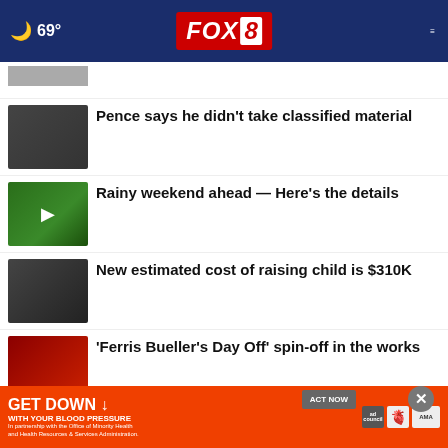69° FOX 8
[Figure (screenshot): Partial news thumbnail at top]
Pence says he didn't take classified material
Rainy weekend ahead — Here's the details
New estimated cost of raising child is $310K
'Ferris Bueller's Day Off' spin-off in the works
How to get 'free' Sam's Club, Costco memberships
GET DOWN WITH YOUR BLOOD PRESSURE — ACT NOW
supplies to Ukraine